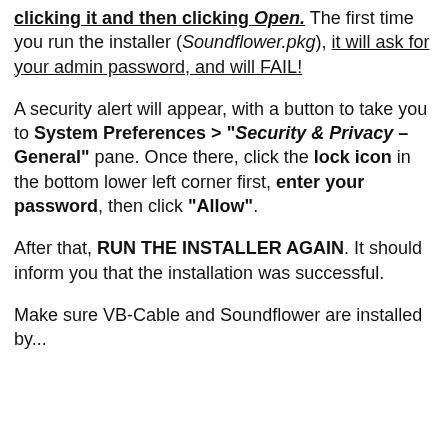by running it from the Finder right-clicking it and then clicking Open. The first time you run the installer (Soundflower.pkg), it will ask for your admin password, and will FAIL!
A security alert will appear, with a button to take you to System Preferences > "Security & Privacy – General" pane. Once there, click the lock icon in the bottom lower left corner first, enter your password, then click "Allow".
After that, RUN THE INSTALLER AGAIN. It should inform you that the installation was successful.
Make sure VB-Cable and Soundflower are installed by...